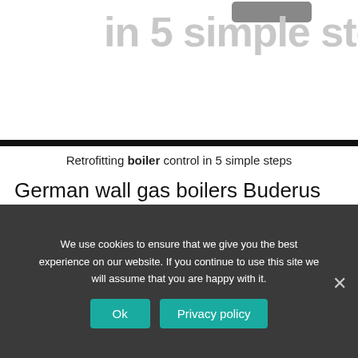[Figure (screenshot): Partial screenshot of a webpage header showing a gray button and large light gray text reading 'in 5 simple step' clipped at right edge]
Retrofitting boiler control in 5 simple steps
German wall gas boilers Buderus (Buderus)
Economic wall.mounted gas boilers Buderus (Buderus) is another evidence of traditional German quality. All Buderus boilers are fully adapted to domestic operating conditions. In the
We use cookies to ensure that we give you the best experience on our website. If you continue to use this site we will assume that you are happy with it.